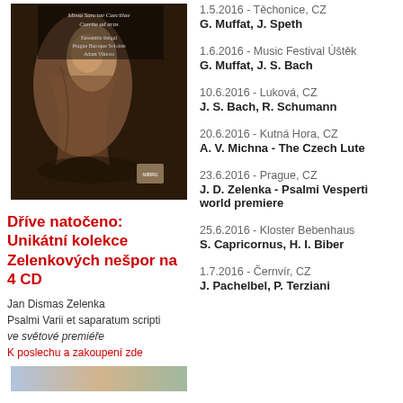[Figure (photo): Album cover photo showing baroque-style painting of a figure in drapery, with text 'Missa Sanctae Caeciliae / Currite ad aras / Ensemble Inégal / Prague Baroque Soloists / Adam Viktora']
Dříve natočeno:
Unikátní kolekce Zelenkových nešpor na 4 CD
Jan Dismas Zelenka
Psalmi Varii et saparatum scripti
ve světové premiéře
K poslechu a zakoupení zde
1.5.2016 - Těchonice, CZ
G. Muffat, J. Speth
1.6.2016 - Music Festival Úštěk…
G. Muffat, J. S. Bach
10.6.2016 - Luková, CZ
J. S. Bach, R. Schumann
20.6.2016 - Kutná Hora, CZ
A. V. Michna - The Czech Lute…
23.6.2016 - Prague, CZ
J. D. Zelenka - Psalmi Vesperti… world premiere
25.6.2016 - Kloster Bebenhaus…
S. Capricornus, H. I. Biber
1.7.2016 - Černvír, CZ
J. Pachelbel, P. Terziani